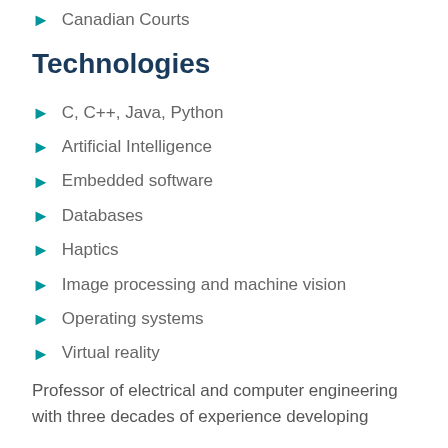Canadian Courts
Technologies
C, C++, Java, Python
Artificial Intelligence
Embedded software
Databases
Haptics
Image processing and machine vision
Operating systems
Virtual reality
Professor of electrical and computer engineering with three decades of experience developing